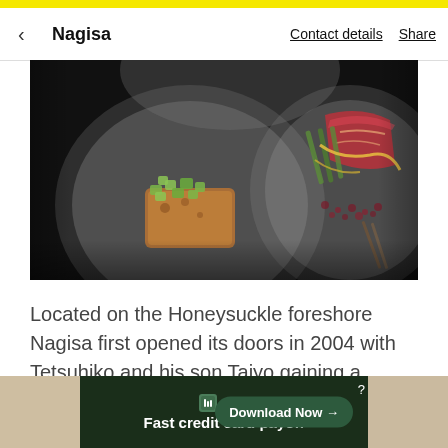< Nagisa   Contact details   Share
[Figure (photo): Overhead view of two rustic ceramic plates on a dark background. Left plate has a piece of toast topped with diced green vegetables. Right plate has sliced red meat (beef) with asparagus, yellow sauce drizzle, and red garnish crumbles.]
Located on the Honeysuckle foreshore Nagisa first opened its doors in 2004 with Tetsuhiko and his son Taiyo gaining a reputation for creating authentic traditional Japanese dishes.
[Figure (screenshot): Advertisement banner for Tally app. Dark green background. Shows Tally logo and text 'Fast credit card payoff' with a 'Download Now' button. Flanked by blurred restaurant/food images on left and right.]